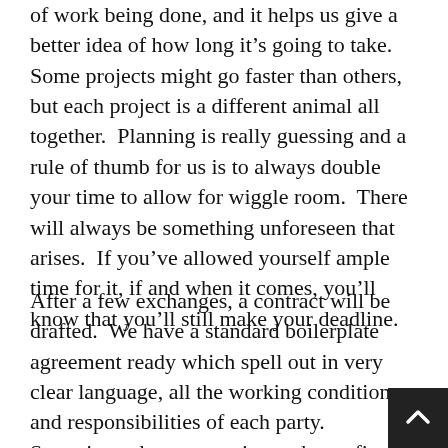of work being done, and it helps us give a better idea of how long it's going to take.  Some projects might go faster than others, but each project is a different animal all together.  Planning is really guessing and a rule of thumb for us is to always double your time to allow for wiggle room.  There will always be something unforeseen that arises.  If you've allowed yourself ample time for it, if and when it comes, you'll know that you'll still make your deadline.
After a few exchanges, a contract will be drafted.  We have a standard boilerplate agreement ready which spell out in very clear language, all the working conditions and responsibilities of each party.  Sometimes the contract is good on a first pass, other times there's some back and forth.  It's at that point where we get to see how well we can work with each other and want to continue.  After everything is in agreement, we use Adobe EchoSign for signatures.